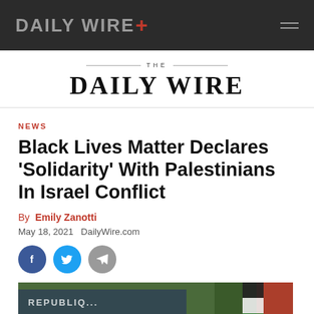DAILY WIRE+
THE DAILY WIRE
NEWS
Black Lives Matter Declares ‘Solidarity’ With Palestinians In Israel Conflict
By Emily Zanotti
May 18, 2021   DailyWire.com
[Figure (photo): Protest scene showing a banner reading REPUBLIQUE and a Palestinian flag with red, black, white, and green colors, trees in background]